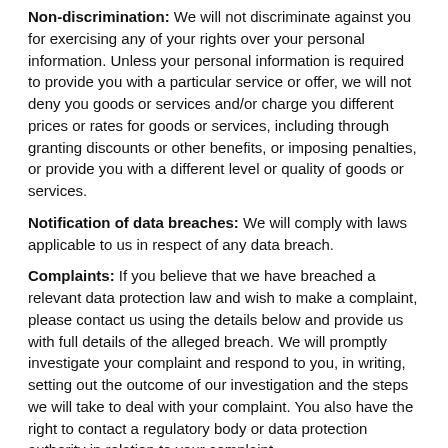Non-discrimination: We will not discriminate against you for exercising any of your rights over your personal information. Unless your personal information is required to provide you with a particular service or offer, we will not deny you goods or services and/or charge you different prices or rates for goods or services, including through granting discounts or other benefits, or imposing penalties, or provide you with a different level or quality of goods or services.
Notification of data breaches: We will comply with laws applicable to us in respect of any data breach.
Complaints: If you believe that we have breached a relevant data protection law and wish to make a complaint, please contact us using the details below and provide us with full details of the alleged breach. We will promptly investigate your complaint and respond to you, in writing, setting out the outcome of our investigation and the steps we will take to deal with your complaint. You also have the right to contact a regulatory body or data protection authority in relation to your complaint.